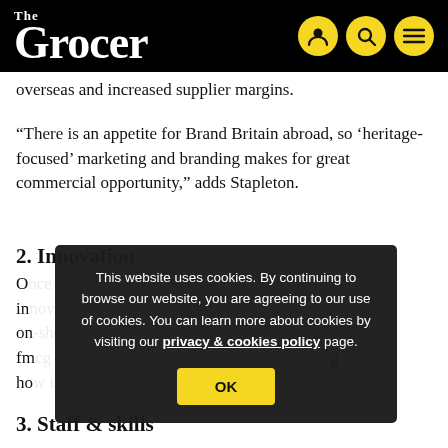The Grocer
overseas and increased supplier margins.
“There is an appetite for Brand Britain abroad, so ‘heritage-focused’ marketing and branding makes for great commercial opportunity,” adds Stapleton.
2. Innovation
O... in... on... fm... ho... co...
This website uses cookies. By continuing to browse our website, you are agreeing to our use of cookies. You can learn more about cookies by visiting our privacy & cookies policy page.
3. Staff & skills